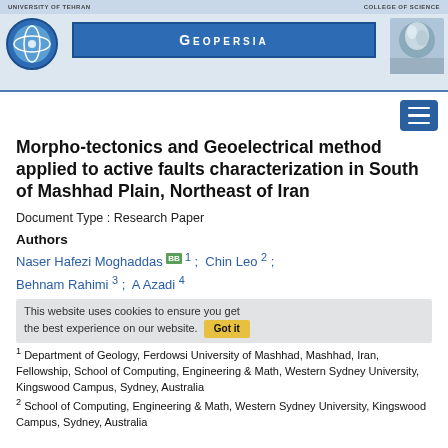[Figure (other): Geopersia journal header banner with University of Tehran logo on left, GEOPERSIA journal name in center blue box, College of Science logo on right, with top bar showing institution names]
Morpho-tectonics and Geoelectrical method applied to active faults characterization in South of Mashhad Plain, Northeast of Iran
Document Type : Research Paper
Authors
Naser Hafezi Moghaddas [orcid] 1 ;  Chin Leo 2 ;  Behnam Rahimi 3 ;  A Azadi 4
This website uses cookies to ensure you get the best experience on our website.  Got it
1 Department of Geology, Ferdowsi University of Mashhad, Mashhad, Iran, Fellowship, School of Computing, Engineering & Math, Western Sydney University, Kingswood Campus, Sydney, Australia
2 School of Computing, Engineering & Math, Western Sydney University, Kingswood Campus, Sydney, Australia